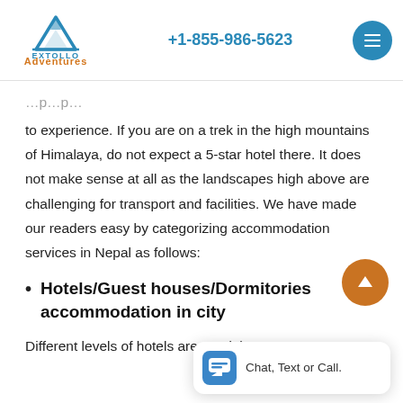EXTOLLO Adventures | +1-855-986-5623
to experience. If you are on a trek in the high mountains of Himalaya, do not expect a 5-star hotel there. It does not make sense at all as the landscapes high above are challenging for transport and facilities. We have made our readers easy by categorizing accommodation services in Nepal as follows:
Hotels/Guest houses/Dormitories accommodation in city
Different levels of hotels are used there...